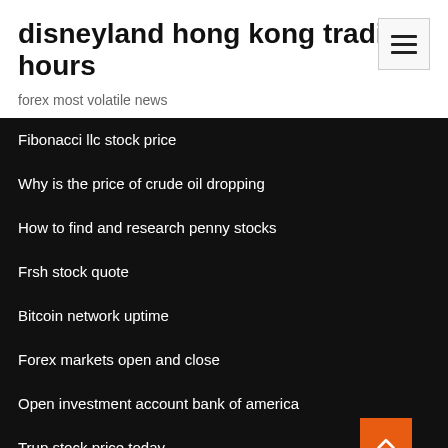disneyland hong kong trading hours
forex most volatile news
Fibonacci llc stock price
Why is the price of crude oil dropping
How to find and research penny stocks
Frsh stock quote
Bitcoin network uptime
Forex markets open and close
Open investment account bank of america
Trup stock price today
Xtb forex sikayet